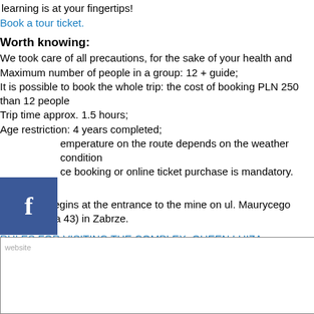learning is at your fingertips!
Book a tour ticket.
Worth knowing:
We took care of all precautions, for the sake of your health and
Maximum number of people in a group: 12 + guide;
It is possible to book the whole trip: the cost of booking PLN 250 than 12 people
Trip time approx. 1.5 hours;
Age restriction: 4 years completed;
Temperature on the route depends on the weather conditions
Advance booking or online ticket purchase is mandatory.
Address:
The route begins at the entrance to the mine on ul. Maurycego Sienkiewicza 43) in Zabrze.
RULES FOR VISITING THE COMPLEX, QUEEN LUIZA
website